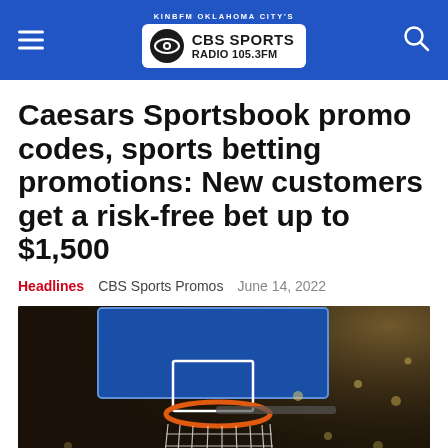KINBFM OKLAHOMA CITY'S CBS SPORTS RADIO 105.3FM
Caesars Sportsbook promo codes, sports betting promotions: New customers get a risk-free bet up to $1,500
Headlines   CBS Sports Promos   June 14, 2022
[Figure (photo): Close-up photo of a basketball hoop and net from below, with an orange rim and blue backboard visible, set against a dark arena with bokeh lights in the background.]